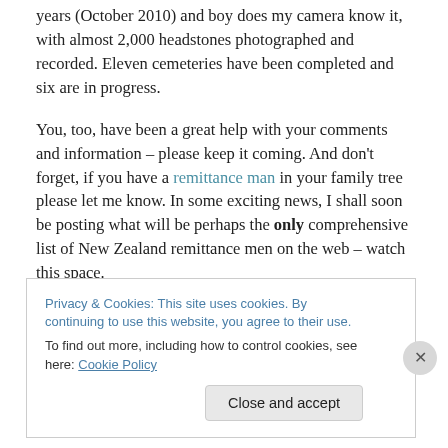years (October 2010) and boy does my camera know it, with almost 2,000 headstones photographed and recorded. Eleven cemeteries have been completed and six are in progress.
You, too, have been a great help with your comments and information – please keep it coming. And don't forget, if you have a remittance man in your family tree please let me know. In some exciting news, I shall soon be posting what will be perhaps the only comprehensive list of New Zealand remittance men on the web – watch this space.
Privacy & Cookies: This site uses cookies. By continuing to use this website, you agree to their use. To find out more, including how to control cookies, see here: Cookie Policy
Close and accept